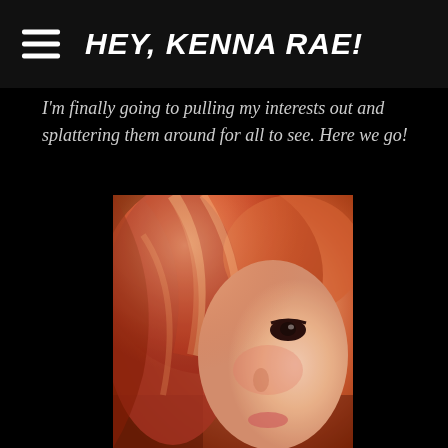HEY, KENNA RAE!
I'm finally going to pulling my interests out and splattering them around for all to see. Here we go!
[Figure (photo): Close-up portrait photo of a woman with red/orange hair, soft lighting with warm pink and orange tones, one eye visible, hair falling across face]